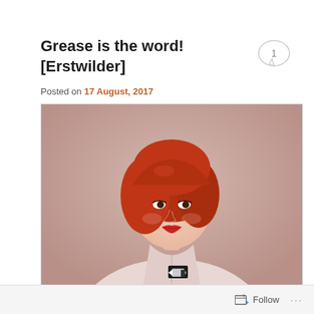Grease is the word! [Erstwilder]
Posted on 17 August, 2017
[Figure (photo): A woman with styled red hair wearing a pale pink blouse with a black and white brooch, posed against a pink/mauve background in a vintage 1950s style.]
Follow ...